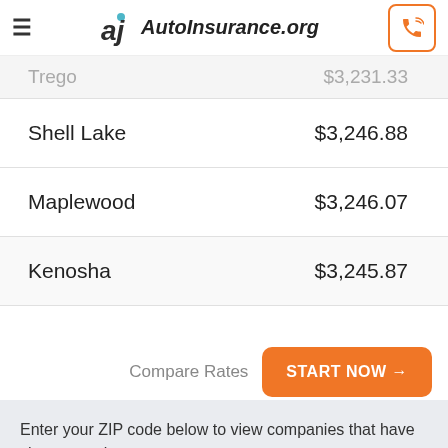AutoInsurance.org
| City | Rate |
| --- | --- |
| Trego | $3,231.33 |
| Shell Lake | $3,246.88 |
| Maplewood | $3,246.07 |
| Kenosha | $3,245.87 |
Compare Rates START NOW →
Enter your ZIP code below to view companies that have cheap auto insurance rates.